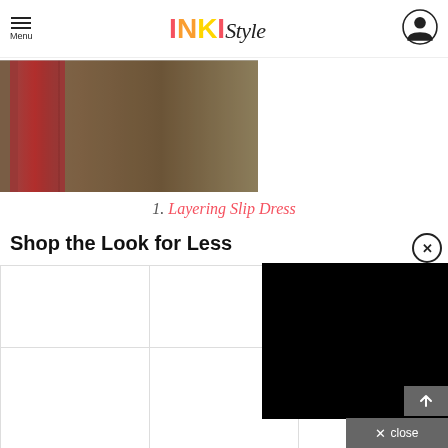Menu | INKI Style
[Figure (photo): Partial view of a red/maroon draped fabric or slip dress against a dark background]
1. Layering Slip Dress
Shop the Look for Less
[Figure (screenshot): Black video overlay panel with close (X) button in top right corner]
[Figure (photo): Product grid showing white/empty product image cells]
↑ close